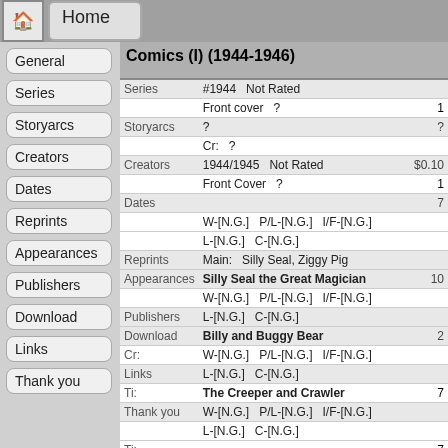Home
Comics (I) (1944-1946)
| Label | Data | Num |
| --- | --- | --- |
| Series | #1944  Not Rated |  |
|  | Front cover  ? | 1 |
| Storyarcs | ? | ? |
|  | Cr:  ? |  |
| Creators | 1944/1945  Not Rated  $0.10 |  |
|  | Front Cover  ? | 1 |
| Dates |  | 7 |
|  | W-[N.G.]  P/L-[N.G.]  I/F-[N.G.] |  |
|  | L-[N.G.]  C-[N.G.] |  |
| Reprints | Main:  Silly Seal, Ziggy Pig |  |
| Appearances | Silly Seal the Great Magician | 10 |
|  | W-[N.G.]  P/L-[N.G.]  I/F-[N.G.] |  |
| Publishers | L-[N.G.]  C-[N.G.] |  |
| Download | Billy and Buggy Bear | 2 |
|  | Cr:  W-[N.G.]  P/L-[N.G.]  I/F-[N.G.] |  |
| Links | L-[N.G.]  C-[N.G.] |  |
|  | Ti:  The Creeper and Crawler | 7 |
| Thank you | W-[N.G.]  P/L-[N.G.]  I/F-[N.G.] |  |
|  | L-[N.G.]  C-[N.G.] |  |
|  | Ti:  - | 7 |
|  | Cr:  W-[N.G.]  P/L-[N.G.]  I/F-[N.G.] |  |